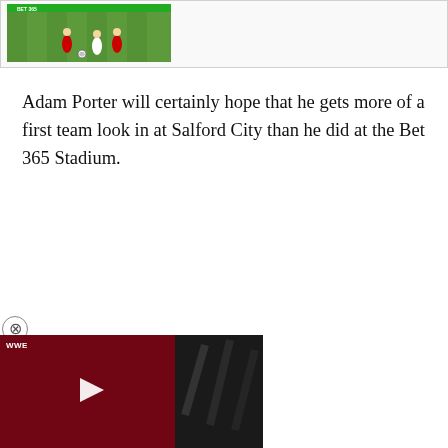[Figure (photo): Football/soccer action photo showing players on a green pitch, partially visible at top of page]
Adam Porter will certainly hope that he gets more of a first team look in at Salford City than he did at the Bet 365 Stadium.
[Figure (screenshot): Video thumbnail with dark red and black background showing a play button, appears to be a WWE or sports video player, with a close/dismiss X button in a circle above it]